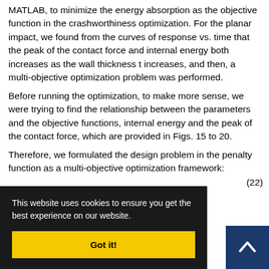MATLAB, to minimize the energy absorption as the objective function in the crashworthiness optimization. For the planar impact, we found from the curves of response vs. time that the peak of the contact force and internal energy both increases as the wall thickness t increases, and then, a multi-objective optimization problem was performed.
Before running the optimization, to make more sense, we were trying to find the relationship between the parameters and the objective functions, internal energy and the peak of the contact force, which are provided in Figs. 15 to 20.
Therefore, we formulated the design problem in the penalty function as a multi-objective optimization framework:
(22)
(23)
This website uses cookies to ensure you get the best experience on our website.
Got it!